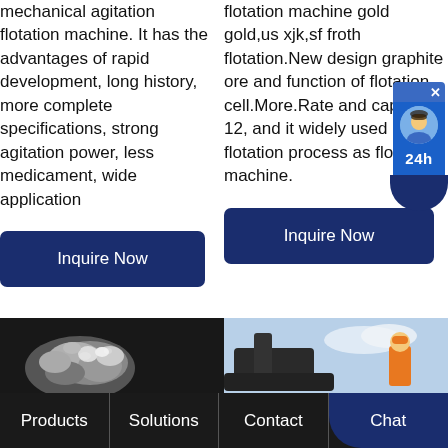mechanical agitation flotation machine. It has the advantages of rapid development, long history, more complete specifications, strong agitation power, less medicament, wide application
flotation machine gold gold,us xjk,sf froth flotation.New design graphite ore and function of flotation cell.More.Rate and capacity 12, and it widely used in flotation process as flotation machine.
Inquire Now
Inquire Now
[Figure (screenshot): Chat widget with avatar and 24h label, blue background, X close button]
[Figure (photo): Silver ore/mineral rocks on dark background]
[Figure (photo): Industrial mining equipment and worker in orange vest against sky]
Products | Solutions | Contact | Chat